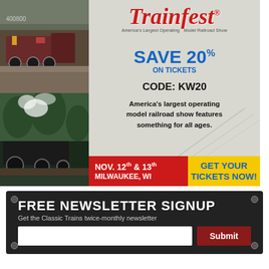[Figure (illustration): Trainfest advertisement with train photos, showing 'SAVE 20% ON TICKETS CODE: KW20', Nov. 12th & 13th Milwaukee WI, GET YOUR TICKETS NOW!]
FREE NEWSLETTER SIGNUP
Get the Classic Trains twice-monthly newsletter
Submit